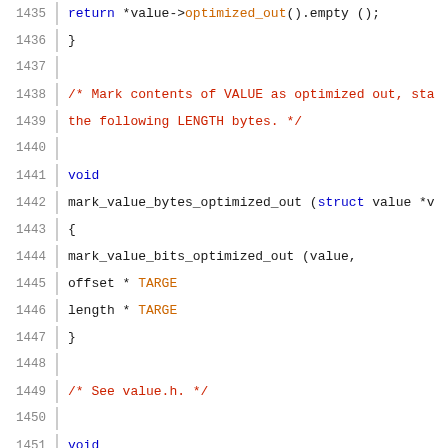Source code snippet showing C function definitions for mark_value_bytes_optimized_out and mark_value_bits_optimized_out, lines 1435-1456
[Figure (screenshot): C source code with syntax highlighting showing function definitions related to marking value bytes/bits as optimized out, with line numbers 1435-1456]